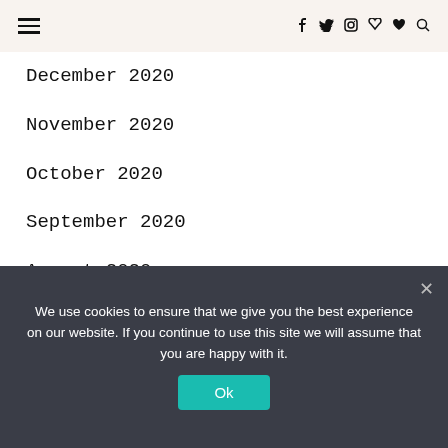≡  [navigation icons: f, twitter, instagram, pinterest, heart, search]
December 2020
November 2020
October 2020
September 2020
August 2020
July 2020
June 2020
March 2020
February 2020
Privacy & Cookies: This site uses cookies. By continuing to use this
We use cookies to ensure that we give you the best experience on our website. If you continue to use this site we will assume that you are happy with it.
Ok